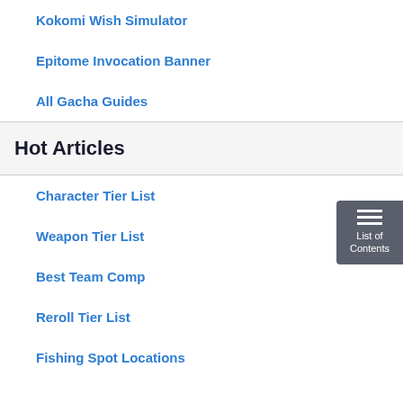Kokomi Wish Simulator
Epitome Invocation Banner
All Gacha Guides
Hot Articles
Character Tier List
Weapon Tier List
Best Team Comp
Reroll Tier List
Fishing Spot Locations